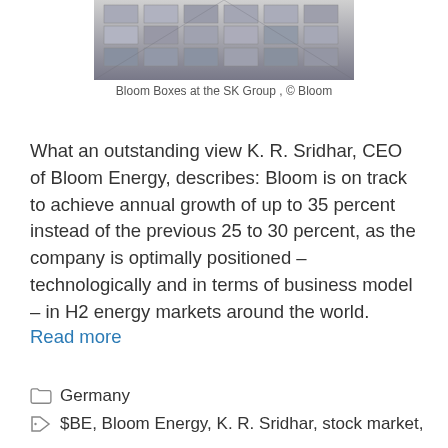[Figure (photo): Bloom Boxes at the SK Group — rows of large grey server/energy box units in a warehouse setting, viewed from an elevated angle.]
Bloom Boxes at the SK Group , © Bloom
What an outstanding view K. R. Sridhar, CEO of Bloom Energy, describes: Bloom is on track to achieve annual growth of up to 35 percent instead of the previous 25 to 30 percent, as the company is optimally positioned – technologically and in terms of business model – in H2 energy markets around the world.
Read more
Germany
$BE, Bloom Energy, K. R. Sridhar, stock market,